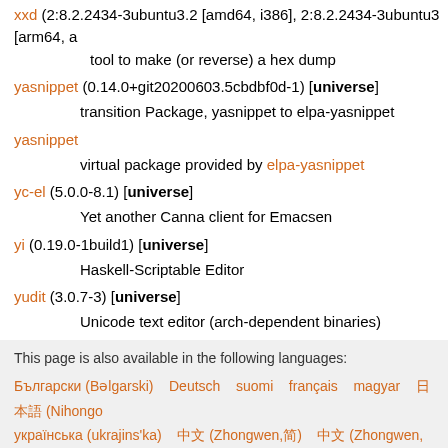xxd (2:8.2.2434-3ubuntu3.2 [amd64, i386], 2:8.2.2434-3ubuntu3 [arm64, a
  tool to make (or reverse) a hex dump
yasnippet (0.14.0+git20200603.5cbdbf0d-1) [universe]
  transition Package, yasnippet to elpa-yasnippet
yasnippet
  virtual package provided by elpa-yasnippet
yc-el (5.0.0-8.1) [universe]
  Yet another Canna client for Emacsen
yi (0.19.0-1build1) [universe]
  Haskell-Scriptable Editor
yudit (3.0.7-3) [universe]
  Unicode text editor (arch-dependent binaries)
yudit-common (3.0.7-3) [universe]
  Unicode text editor (arch-independent files)
zile (2.4.15-2) [universe]
  very small Emacs-subset editor
This page is also available in the following languages:
Български (Bəlgarski)  Deutsch  suomi  français  magyar  日本語 (Nihongo)  українська (krajins'ka)  中文 (Zhongwen,简)  中文 (Zhongwen,繁)